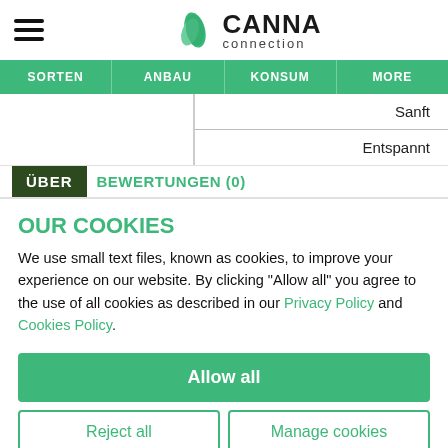[Figure (logo): Canna Connection logo with green leaf SVG and text 'CANNA connection']
SORTEN | ANBAU | KONSUM | MORE
Sanft
Entspannt
ÜBER   BEWERTUNGEN (0)
OUR COOKIES
We use small text files, known as cookies, to improve your experience on our website. By clicking "Allow all" you agree to the use of all cookies as described in our Privacy Policy and Cookies Policy.
Allow all
Reject all
Manage cookies